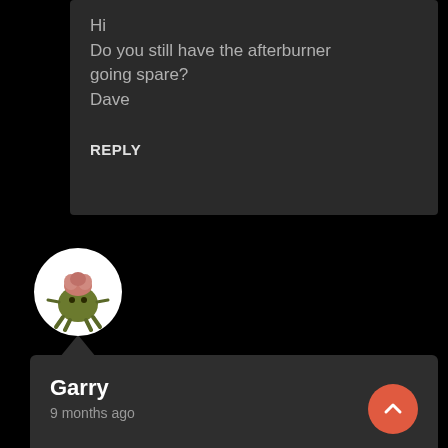Hi
Do you still have the afterburner going spare?
Dave
REPLY
[Figure (illustration): Circular avatar showing a cartoon olive-green creature with legs and a pink brain-like top, on a white background]
Garry
9 months ago